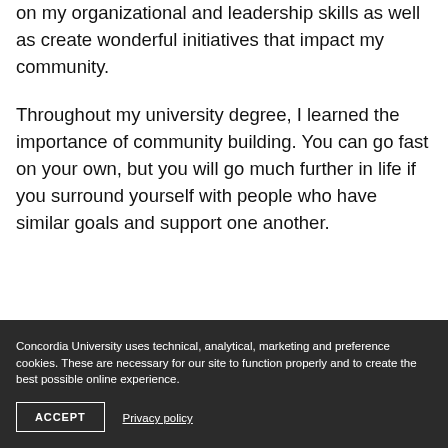on my organizational and leadership skills as well as create wonderful initiatives that impact my community.
Throughout my university degree, I learned the importance of community building. You can go fast on your own, but you will go much further in life if you surround yourself with people who have similar goals and support one another.
Concordia University uses technical, analytical, marketing and preference cookies. These are necessary for our site to function properly and to create the best possible online experience.
ACCEPT
Privacy policy